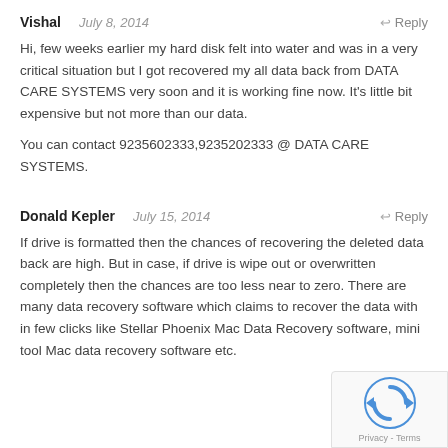Vishal   July 8, 2014   ↩ Reply
Hi, few weeks earlier my hard disk felt into water and was in a very critical situation but I got recovered my all data back from DATA CARE SYSTEMS very soon and it is working fine now. It's little bit expensive but not more than our data.

You can contact 9235602333,9235202333 @ DATA CARE SYSTEMS.
Donald Kepler   July 15, 2014   ↩ Reply
If drive is formatted then the chances of recovering the deleted data back are high. But in case, if drive is wipe out or overwritten completely then the chances are too less near to zero. There are many data recovery software which claims to recover the data with in few clicks like Stellar Phoenix Mac Da... Recovery software, mini tool Mac data recov... software etc.